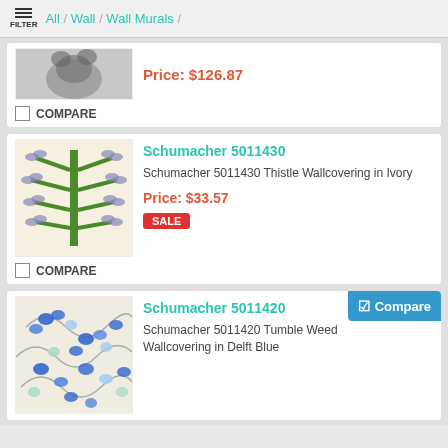FILTER / All / Wall / Wall Murals /
[Figure (screenshot): Partial product card showing top portion of a dark floral wallpaper image]
Price: $126.87
COMPARE
[Figure (photo): Schumacher 5011430 Thistle Wallcovering in Ivory — green tree/thistle botanical pattern on cream background]
Schumacher 5011430
Schumacher 5011430 Thistle Wallcovering in Ivory
Price: $33.57
SALE
COMPARE
[Figure (photo): Schumacher 5011420 Tumble Weed Wallcovering in Delft Blue — blue leaf/berry botanical pattern on cream background]
Schumacher 5011420
Compare
Schumacher 5011420 Tumble Weed Wallcovering in Delft Blue